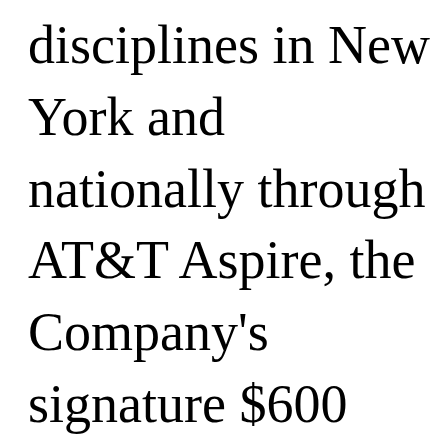disciplines in New York and nationally through AT&T Aspire, the Company's signature $600 million